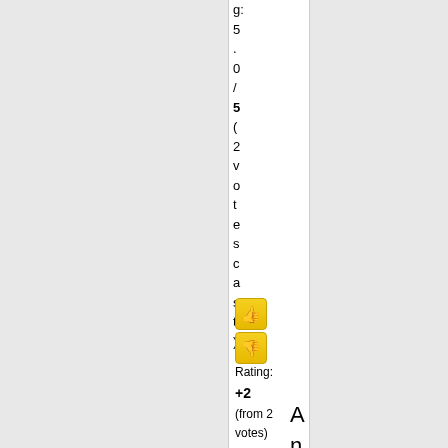g: 5 .0/5(2 votes cast)
[Figure (other): Thumbs up button (yellow)]
[Figure (other): Thumbs down button (yellow)]
Rating: +2 (from 2 votes)
An